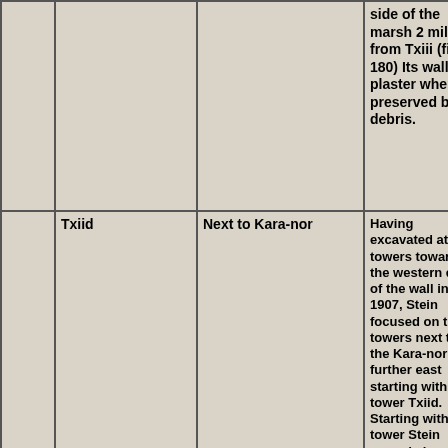|  |  |  |  |  |
| --- | --- | --- | --- | --- |
|  |  |  | side of the marsh 2 miles from Txiii (fig 180) Its wall had plaster where preserved by debris. |  |
|  | Txiid | Next to Kara-nor | Having excavated at the towers toward the western end of the wall in 1907, Stein focused on the towers next to the Kara-nor lake further east starting with tower Txiid. Starting with that tower Stein moved along the southern shore of Khara-nor. |  |
|  | Txiii | Txiii is mid way along the wall due east of Txiia across this desert. | Photo 180 from Innermostasia - Ancient watch tower |  |